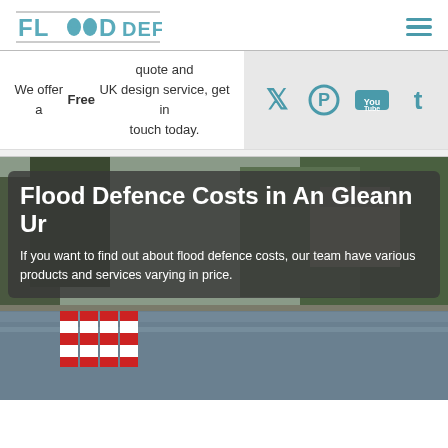FLOOD DEFENCES
We offer a Free quote and UK design service, get in touch today.
[Figure (other): Social media icons: Twitter, Pinterest, YouTube, Tumblr on a light grey background]
[Figure (photo): Photograph of a flooded road with red and white barriers, trees and a building in background]
Flood Defence Costs in An Gleann Ur
If you want to find out about flood defence costs, our team have various products and services varying in price.